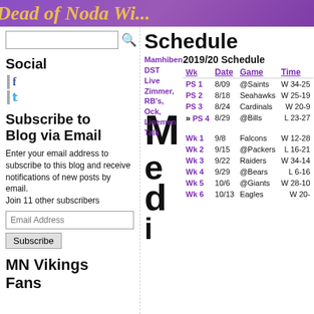Dead of Noda Wi...
Social
Subscribe to Blog via Email
Enter your email address to subscribe to this blog and receive notifications of new posts by email. Join 11 other subscribers
MN Vikings Fans
Schedule
2019/20 Schedule
| Wk | Date | Game | Time |
| --- | --- | --- | --- |
| PS 1 | 8/09 | @Saints | W 34-25 |
| PS 2 | 8/18 | Seahawks | W 25-19 |
| PS 3 | 8/24 | Cardinals | W 20-9 |
| PS 4 | 8/29 | @Bills | L 23-27 |
| Wk 1 | 9/8 | Falcons | W 12-28 |
| Wk 2 | 9/15 | @Packers | L 16-21 |
| Wk 3 | 9/22 | Raiders | W 34-14 |
| Wk 4 | 9/29 | @Bears | L 6-16 |
| Wk 5 | 10/6 | @Giants | W 28-10 |
| Wk 6 | 10/13 | Eagles | W 20- |